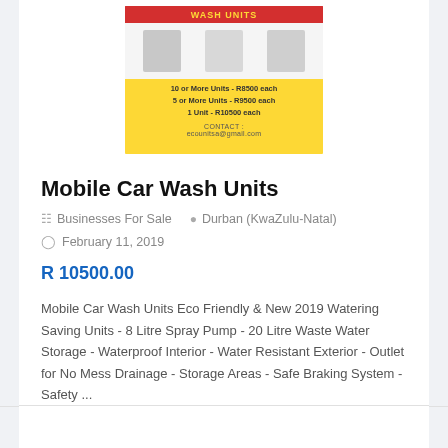[Figure (photo): Advertisement image for Mobile Car Wash Units showing product photos and pricing: 10 or More Units - R8500 each, 5 or More Units - R9500 each, 1 Unit - R10500 each. Contact: ecounitsa@gmail.com]
Mobile Car Wash Units
Businesses For Sale   Durban (KwaZulu-Natal)
February 11, 2019
R 10500.00
Mobile Car Wash Units Eco Friendly & New 2019 Watering Saving Units - 8 Litre Spray Pump - 20 Litre Waste Water Storage - Waterproof Interior - Water Resistant Exterior - Outlet for No Mess Drainage - Storage Areas - Safe Braking System - Safety ...